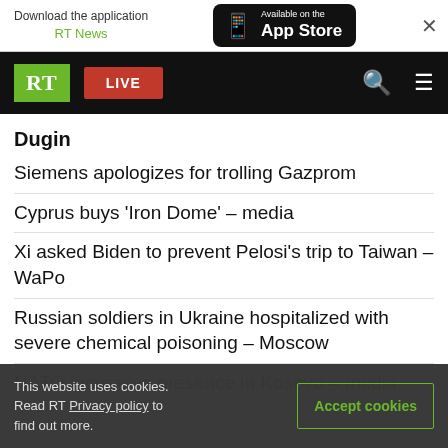Download the application RT News — Available on the App Store
Dugin
Siemens apologizes for trolling Gazprom
Cyprus buys 'Iron Dome' – media
Xi asked Biden to prevent Pelosi's trip to Taiwan – WaPo
Russian soldiers in Ukraine hospitalized with severe chemical poisoning – Moscow
NATO increases presence in Kosovo – media
This website uses cookies. Read RT Privacy policy to find out more.
Swiss police warn of winter cuts